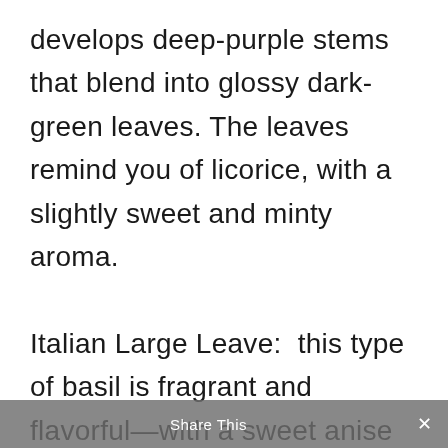develops deep-purple stems that blend into glossy dark-green leaves. The leaves remind you of licorice, with a slightly sweet and minty aroma.

Italian Large Leave:  this type of basil is fragrant and flavorful—with a sweet anise flavor, growing extra-large leaves that are a staple ingredient of the culinary world. Great for indoors and outdoors. It is
Share This ×